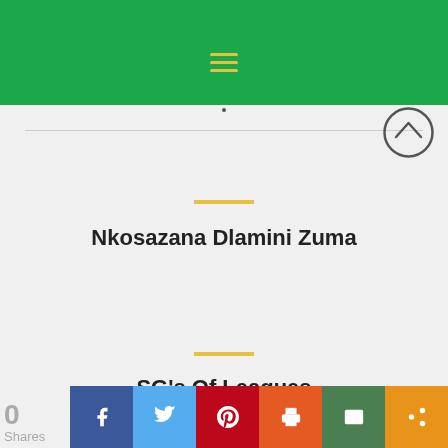[Figure (screenshot): Green navigation header bar with yellow hamburger menu icon]
Nkosazana Dlamini Zuma
SG's Of Leagues
[Figure (infographic): Social share bar at bottom with 0 shares, Facebook, Twitter, Pinterest, Print, Email, and Share buttons]